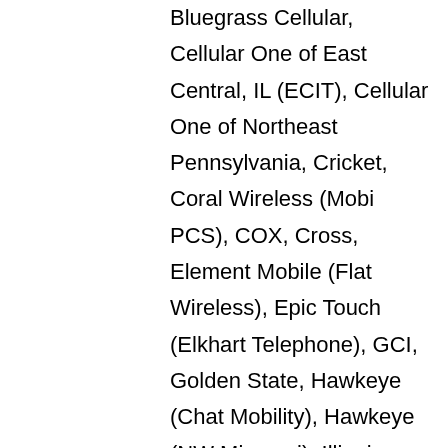Bluegrass Cellular, Cellular One of East Central, IL (ECIT), Cellular One of Northeast Pennsylvania, Cricket, Coral Wireless (Mobi PCS), COX, Cross, Element Mobile (Flat Wireless), Epic Touch (Elkhart Telephone), GCI, Golden State, Hawkeye (Chat Mobility), Hawkeye (NW Missouri), Illinois Valley Cellular, Inland Cellular, iWireless (Iowa Wireless), Keystone Wireless (Immix Wireless/PC Man), Mosaic (Consolidated or CTC Telecom), Nex-Tech Wireless, NTelos, Panhandle Communications, Pioneer, Plateau (Texas RSA 3 Ltd), Revol, RINA, Simmetry (TMP Corporation),Thumb Cellular, Union Wireless, United Wireless, Viaero Wireless, and West Central (WCC or 5 Star Wireless).
6. As always, Message and Data Rates May Apply for any messages sent to you from us and to us from you. If you have any questions about your text plan